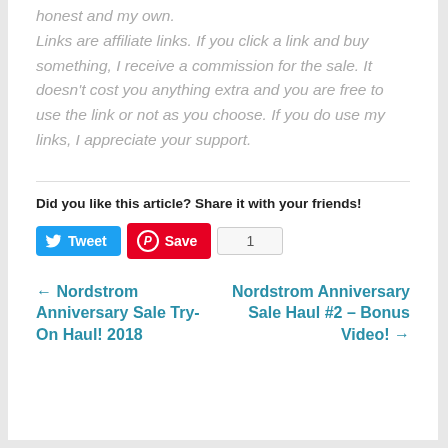honest and my own. Links are affiliate links. If you click a link and buy something, I receive a commission for the sale. It doesn't cost you anything extra and you are free to use the link or not as you choose. If you do use my links, I appreciate your support.
Did you like this article? Share it with your friends!
Tweet | Save | 1
← Nordstrom Anniversary Sale Try-On Haul! 2018
Nordstrom Anniversary Sale Haul #2 – Bonus Video! →